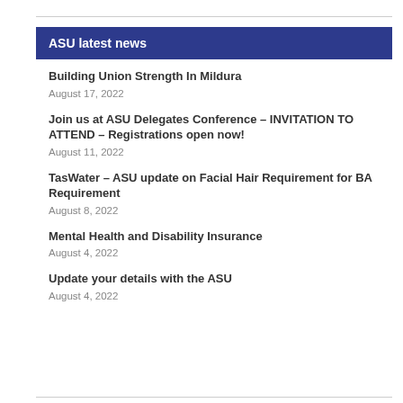ASU latest news
Building Union Strength In Mildura
August 17, 2022
Join us at ASU Delegates Conference – INVITATION TO ATTEND – Registrations open now!
August 11, 2022
TasWater – ASU update on Facial Hair Requirement for BA Requirement
August 8, 2022
Mental Health and Disability Insurance
August 4, 2022
Update your details with the ASU
August 4, 2022